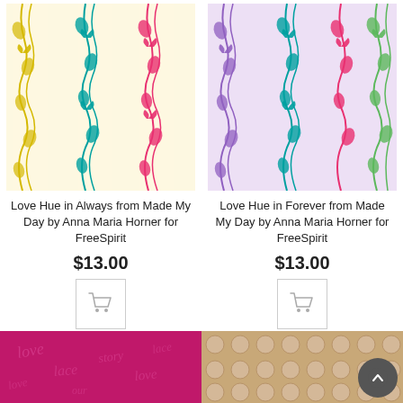[Figure (photo): Floral vine pattern fabric on cream/yellow background with yellow, teal, and pink/red stripes - Love Hue in Always]
Love Hue in Always from Made My Day by Anna Maria Horner for FreeSpirit
$13.00
[Figure (illustration): Shopping cart icon button]
[Figure (photo): Floral vine pattern fabric on lavender background with purple, teal, pink/red, and green stripes - Love Hue in Forever]
Love Hue in Forever from Made My Day by Anna Maria Horner for FreeSpirit
$13.00
[Figure (illustration): Shopping cart icon button]
[Figure (photo): Bottom left: magenta/pink fabric with cursive text pattern (love, lace, etc.)]
[Figure (photo): Bottom right: tan/gold fabric with circular dot pattern]